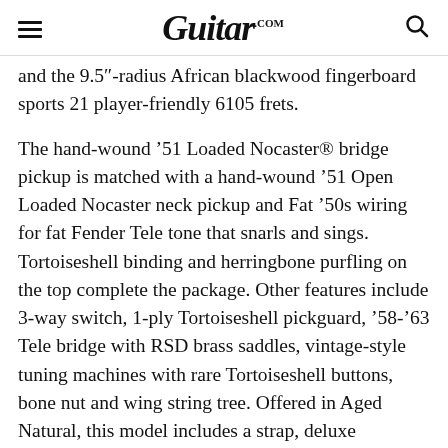Guitar.com
and the 9.5"-radius African blackwood fingerboard sports 21 player-friendly 6105 frets.
The hand-wound ‘51 Loaded Nocaster® bridge pickup is matched with a hand-wound ‘51 Open Loaded Nocaster neck pickup and Fat ’50s wiring for fat Fender Tele tone that snarls and sings. Tortoiseshell binding and herringbone purfling on the top complete the package. Other features include 3-way switch, 1-ply Tortoiseshell pickguard, ‘58-’63 Tele bridge with RSD brass saddles, vintage-style tuning machines with rare Tortoiseshell buttons, bone nut and wing string tree. Offered in Aged Natural, this model includes a strap, deluxe hardshell case and Certificate of